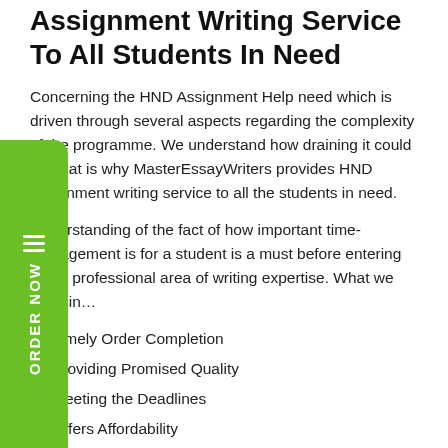Assignment Writing Service To All Students In Need
Concerning the HND Assignment Help need which is driven through several aspects regarding the complexity of the programme. We understand how draining it could be, that is why MasterEssayWriters provides HND assignment writing service to all the students in need.
Understanding of the fact of how important time-management is for a student is a must before entering into a professional area of writing expertise. What we pride in…
Timely Order Completion
Providing Promised Quality
Meeting the Deadlines
Offers Affordability
Plagiarism-Free Work
Our experts don't use the copied content for creating